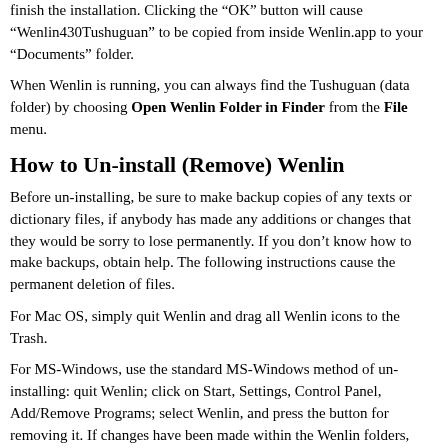finish the installation. Clicking the “OK” button will cause “Wenlin430Tushuguan” to be copied from inside Wenlin.app to your “Documents” folder.
When Wenlin is running, you can always find the Tushuguan (data folder) by choosing Open Wenlin Folder in Finder from the File menu.
How to Un-install (Remove) Wenlin
Before un-installing, be sure to make backup copies of any texts or dictionary files, if anybody has made any additions or changes that they would be sorry to lose permanently. If you don’t know how to make backups, obtain help. The following instructions cause the permanent deletion of files.
For Mac OS, simply quit Wenlin and drag all Wenlin icons to the Trash.
For MS-Windows, use the standard MS-Windows method of un-installing: quit Wenlin; click on Start, Settings, Control Panel, Add/Remove Programs; select Wenlin, and press the button for removing it. If changes have been made within the Wenlin folders,